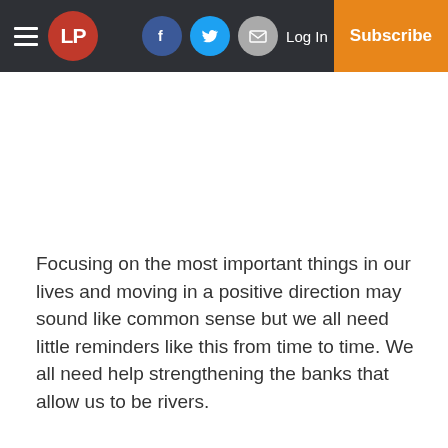LP | Log In | Subscribe
Focusing on the most important things in our lives and moving in a positive direction may sound like common sense but we all need little reminders like this from time to time. We all need help strengthening the banks that allow us to be rivers.
Justin is offering a chance to do just that at the